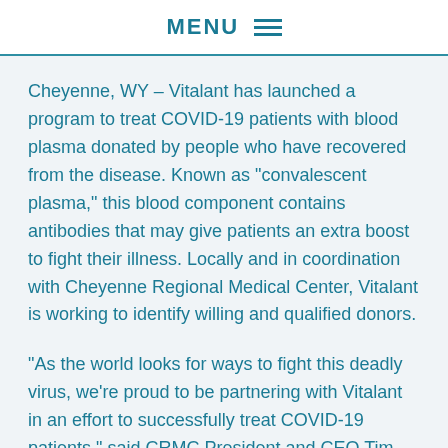MENU
Cheyenne, WY – Vitalant has launched a program to treat COVID-19 patients with blood plasma donated by people who have recovered from the disease. Known as “convalescent plasma,” this blood component contains antibodies that may give patients an extra boost to fight their illness. Locally and in coordination with Cheyenne Regional Medical Center, Vitalant is working to identify willing and qualified donors.
“As the world looks for ways to fight this deadly virus, we’re proud to be partnering with Vitalant in an effort to successfully treat COVID-19 patients,” said CRMC President and CEO Tim Thornell. “We’ll continue to do what’s necessary to make sure COVID-19 patients receive the most up-to-date and evidence-based care in this